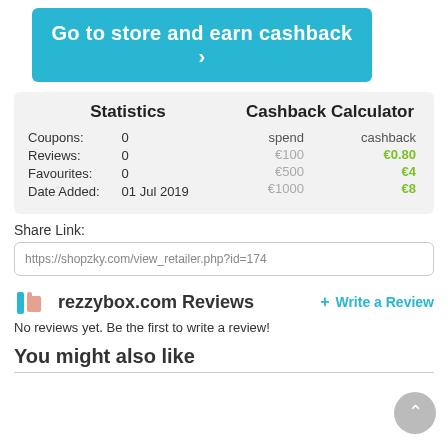Go to store and earn cashback >
|  | Statistics | Cashback Calculator |
| --- | --- | --- |
| Coupons: | 0 | spend / cashback |
| Reviews: | 0 | €100 / €0.80 |
| Favourites: | 0 | €500 / €4 |
| Date Added: | 01 Jul 2019 | €1000 / €8 |
Share Link:
https://shopzky.com/view_retailer.php?id=174
rezzybox.com Reviews
+ Write a Review
No reviews yet. Be the first to write a review!
You might also like